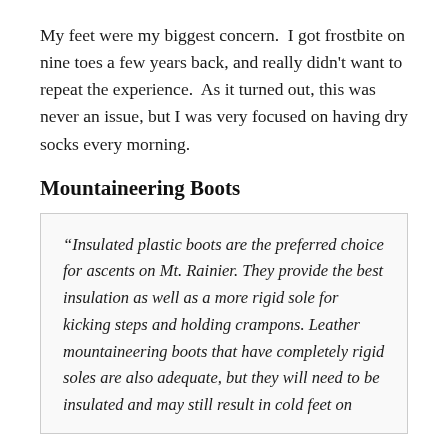My feet were my biggest concern.  I got frostbite on nine toes a few years back, and really didn't want to repeat the experience.  As it turned out, this was never an issue, but I was very focused on having dry socks every morning.
Mountaineering Boots
“Insulated plastic boots are the preferred choice for ascents on Mt. Rainier. They provide the best insulation as well as a more rigid sole for kicking steps and holding crampons. Leather mountaineering boots that have completely rigid soles are also adequate, but they will need to be insulated and may still result in cold feet on